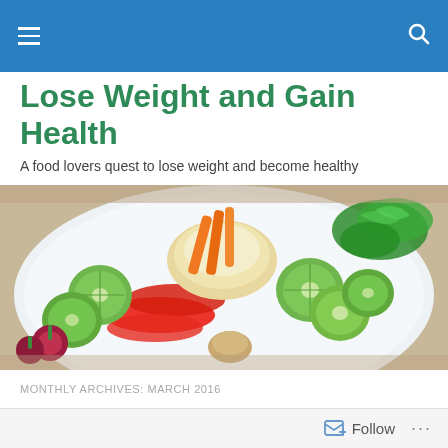Navigation bar with hamburger menu and search icon
Lose Weight and Gain Health
A food lovers quest to lose weight and become healthy
[Figure (photo): Close-up photo of a white plate with colorful fresh vegetables including sliced cucumbers, red peppers, carrots, radishes, hummus, and green herbs]
MONTHLY ARCHIVES: MARCH 2016
Seascape and Woodscape Easter 2016
Follow ...